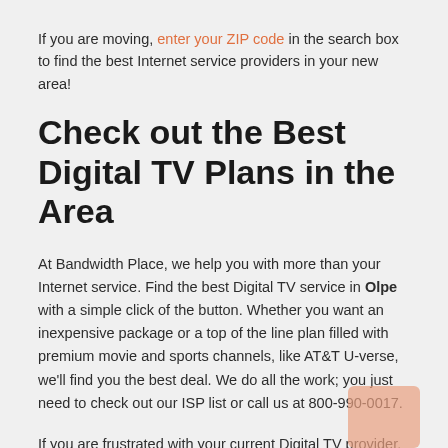If you are moving, enter your ZIP code in the search box to find the best Internet service providers in your new area!
Check out the Best Digital TV Plans in the Area
At Bandwidth Place, we help you with more than your Internet service. Find the best Digital TV service in Olpe with a simple click of the button. Whether you want an inexpensive package or a top of the line plan filled with premium movie and sports channels, like AT&T U-verse, we'll find you the best deal. We do all the work; you just need to check out our ISP list or call us at 800-990-0017.
If you are frustrated with your current Digital TV provider, or poor customer service, don't fret. We help you compare